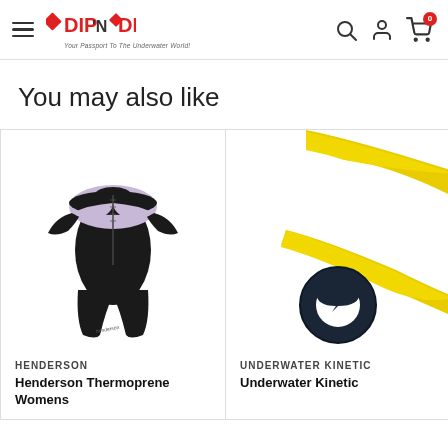DIP 'N DIVE — Your Passport To The Underwater World!
You may also like
[Figure (photo): Black and lavender Henderson Thermoprene women's wetsuit (shorty style) displayed on invisible mannequin]
HENDERSON
Henderson Thermoprene Womens
[Figure (photo): Yellow Underwater Kinetics product (appears to be yellow clips/straps) and a dark circular object partially visible]
UNDERWATER KINETIC
Underwater Kinetic